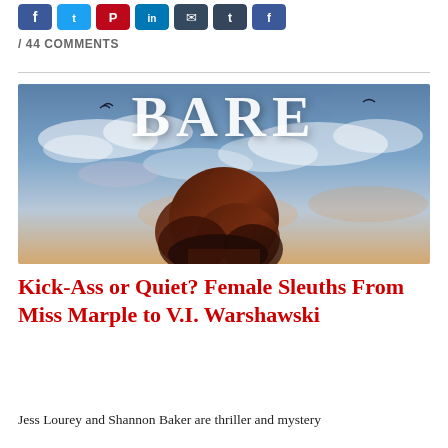[Figure (screenshot): Row of social media sharing buttons: Facebook (blue), Twitter (blue), Pinterest (red), LinkedIn (blue), Email (blue/dark), Tumblr (dark blue), another button (blue)]
/ 44 COMMENTS
[Figure (photo): Book cover showing the word BARE in large white serif letters against a dramatic cloudy blue sky, with the silhouette of a woman with long dark red hair facing away from the camera, and two birds visible in the sky]
Kick-Ass or Quiet? Female Sleuths From Miss Marple to V.I. Warshawski
Jess Lourey and Shannon Baker are thriller and mystery